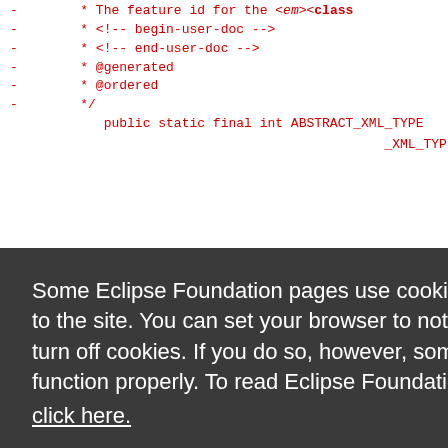- * The feature id for the <em><b>Class ...
- * <!-- begin-user-doc -->
- * <!-- end-user-doc -->
- * @generated
- * @ordered
- */
public static final int ABSTRACT_XML_TYPE...
_XML_TYPE...
b>Metadata...
ackage ex...
_XML_TYPE...
b>Descrip...
- */
Some Eclipse Foundation pages use cookies to better serve you when you return to the site. You can set your browser to notify you before you receive a cookie or turn off cookies. If you do so, however, some areas of some sites may not function properly. To read Eclipse Foundation Privacy Policy click here.